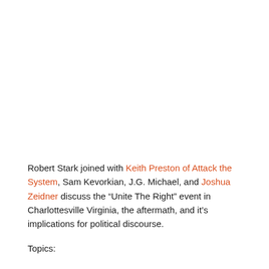Robert Stark joined with Keith Preston of Attack the System, Sam Kevorkian, J.G. Michael, and Joshua Zeidner discuss the “Unite The Right” event in Charlottesville Virginia, the aftermath, and it’s implications for political discourse.
Topics: